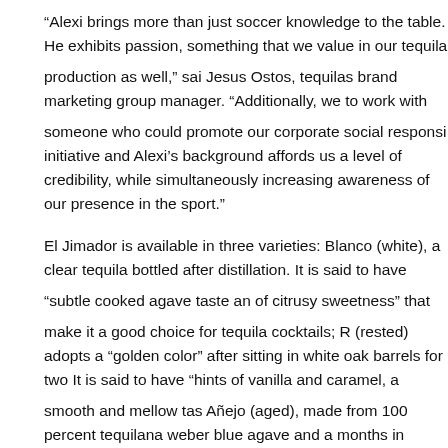“Alexi brings more than just soccer knowledge to the table. He exhibits passion, something that we value in our tequila production as well,” said Jesus Ostos, tequilas brand marketing group manager. “Additionally, we to work with someone who could promote our corporate social responsi initiative and Alexi’s background affords us a level of credibility, while simultaneously increasing awareness of our presence in the sport.”
El Jimador is available in three varieties: Blanco (white), a clear tequila bottled after distillation. It is said to have “subtle cooked agave taste and of citrusy sweetness” that make it a good choice for tequila cocktails; Ro (rested) adopts a “golden color” after sitting in white oak barrels for two It is said to have “hints of vanilla and caramel, a smooth and mellow tas Añejo (aged), made from 100 percent tequilana weber blue agave and a months in toasted white oak barrels. It is said to have flavors of “vanilla oak, balanced with subtle cues of cinnamon and caramel.” The tequila i available in 750 milliliter bottles at 80 proof. Bottles range in price from $ to $29.99.
“We activate on a variety of levels from games on-site advertising,